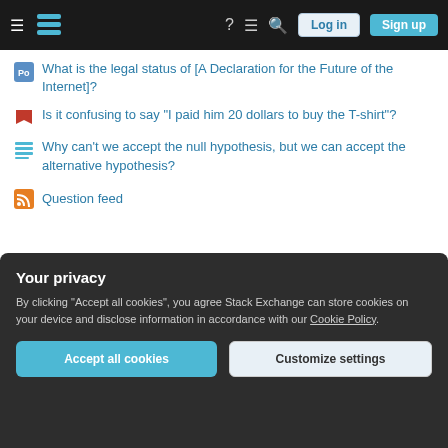Navigation bar with hamburger menu, logo, help, chat, search icons, Log in and Sign up buttons
What is the legal status of [A Declaration for the Future of the Internet]?
Is it confusing to say "I paid him 20 dollars to buy the T-shirt"?
Why can't we accept the null hypothesis, but we can accept the alternative hypothesis?
Question feed
SCIENCE FICTION & FANTASY
Tour  Help  Chat  Contact  Feedback
COMPANY
Your privacy
By clicking "Accept all cookies", you agree Stack Exchange can store cookies on your device and disclose information in accordance with our Cookie Policy.
Accept all cookies  Customize settings